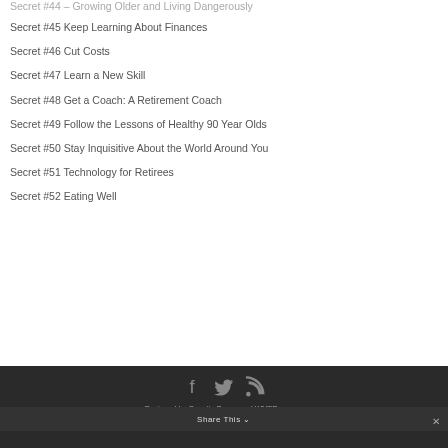Secret #44 – Growing Older and Living Dangerously
Secret #45 Keep Learning About Finances
Secret #46 Cut Costs
Secret #47 Learn a New Skill
Secret #48 Get a Coach: A Retirement Coach
Secret #49 Follow the Lessons of Healthy 90 Year Olds
Secret #50 Stay Inquisitive About the World Around You
Secret #51 Technology for Retirees
Secret #52 Eating Well
Designed by Quentin Brown and WMFP.com.au